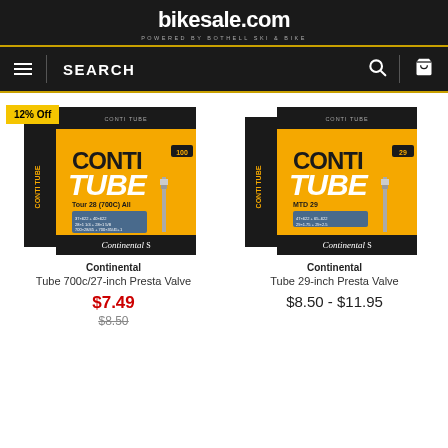bikesale.com — POWERED BY BOTHELL SKI & BIKE
SEARCH
[Figure (photo): Continental Conti Tube box for Tour 28 (700C) All - product with orange and black packaging]
12% Off
Continental
Tube 700c/27-inch Presta Valve
$7.49
$8.50
[Figure (photo): Continental Conti Tube box for MTD 29 - product with orange and black packaging]
Continental
Tube 29-inch Presta Valve
$8.50 - $11.95